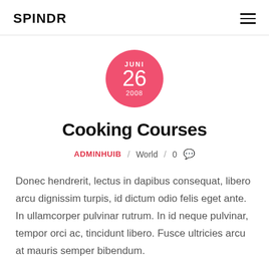SPINDR
[Figure (infographic): Pink circle with date: JUNI 26 2008]
Cooking Courses
ADMINHUIB / World / 0
Donec hendrerit, lectus in dapibus consequat, libero arcu dignissim turpis, id dictum odio felis eget ante. In ullamcorper pulvinar rutrum. In id neque pulvinar, tempor orci ac, tincidunt libero. Fusce ultricies arcu at mauris semper bibendum.